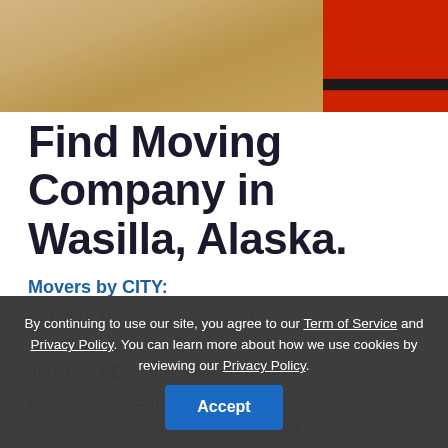[Figure (photo): Partial photo showing a wood floor and a person in red work pants/overalls with a black belt, visible from waist down]
Find Moving Company in Wasilla, Alaska.
Movers by CITY:
Anchor Point • Anchorage • Chugiak • Copper Center • Delta Junction • Douglas • Eagle River • Eielson Afb • Elmendorf Afb • Fairbanks • Fort Richardson • Fort ... • ... • Homer • ... Junction • ... • Ketchikan • Kodiak • Homer •
By continuing to use our site, you agree to our Term of Service and Privacy Policy. You can learn more about how we use cookies by reviewing our Privacy Policy.